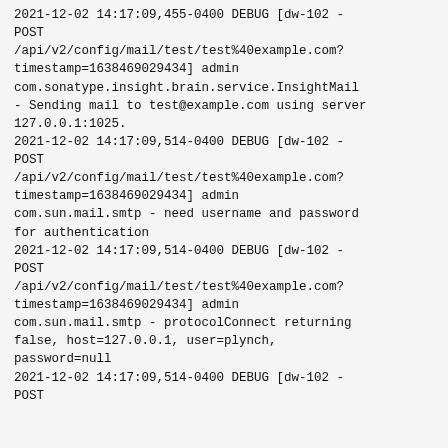2021-12-02 14:17:09,455-0400 DEBUG [dw-102 - POST /api/v2/config/mail/test/test%40example.com?timestamp=1638469029434] admin com.sonatype.insight.brain.service.InsightMail - Sending mail to test@example.com using server 127.0.0.1:1025.
2021-12-02 14:17:09,514-0400 DEBUG [dw-102 - POST /api/v2/config/mail/test/test%40example.com?timestamp=1638469029434] admin com.sun.mail.smtp - need username and password for authentication
2021-12-02 14:17:09,514-0400 DEBUG [dw-102 - POST /api/v2/config/mail/test/test%40example.com?timestamp=1638469029434] admin com.sun.mail.smtp - protocolConnect returning false, host=127.0.0.1, user=plynch, password=null
2021-12-02 14:17:09,514-0400 DEBUG [dw-102 - POST